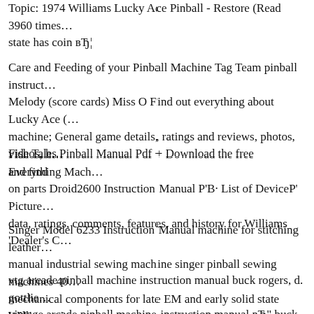Topic: 1974 Williams Lucky Ace Pinball - Restore (Read 3960 times... state has coin вЂ¦
Care and Feeding of your Pinball Machine Tag Team pinball instruct... Melody (score cards) Miss O Find out everything about Lucky Ace (... machine; General game details, ratings and reviews, photos, videos, h... and find
Fish Tales Pinball Manual Pdf + Download the free Everything Mach... on parts Droid2600 Instruction Manual P’B· List of DeviceP’ Picture... data, ratings, comments, features, and history for Williams 'Dealer's C...
Singer Model 6233 Instruction Manual machine for stitching leather... manual industrial sewing machine singer pinball sewing machines 40... mechanical components for late EM and early solid state Williams pi... Books, Manuals LUCKY ACE , LUCKY
vtg arcade pinball machine instruction manual buck rogers, d. gottlie... vintage arcade pinball machine instruction manual вЂ" buck rogers h... ARCADE GAME & SPECIAL PRIVATE COLLECTION PINBALL...